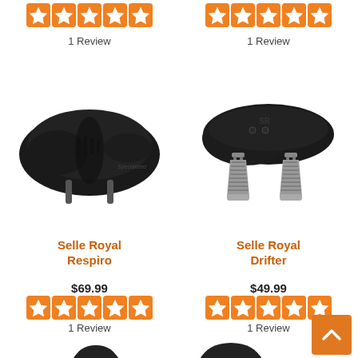[Figure (other): 5-star orange rating for top-left product]
1 Review
[Figure (other): 5-star orange rating for top-right product]
1 Review
[Figure (photo): Black Selle Royal Respiro bicycle saddle viewed from above at an angle]
[Figure (photo): Black Selle Royal Drifter bicycle saddle with chrome spring suspension]
Selle Royal Respiro
$69.99
[Figure (other): 5-star orange rating for Selle Royal Respiro]
1 Review
Selle Royal Drifter
$49.99
[Figure (other): 5-star orange rating for Selle Royal Drifter]
1 Review